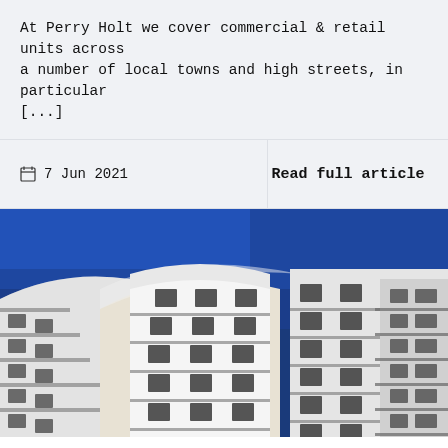At Perry Holt we cover commercial & retail units across a number of local towns and high streets, in particular [...]
7 Jun 2021
Read full article
[Figure (photo): Upward-angle photograph of a modern curved apartment building with balconies against a deep blue sky. The building has white upper sections and a beige/stone lower facade with glass balcony railings.]